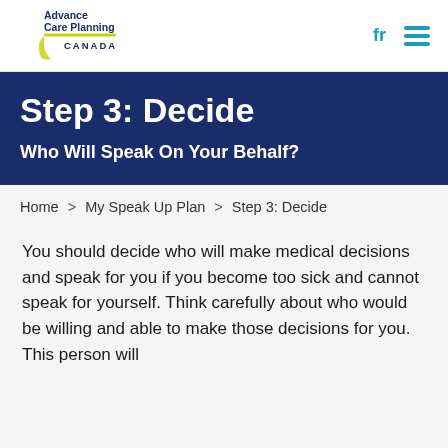Advance Care Planning Canada — fr [nav menu]
Step 3: Decide
Who Will Speak On Your Behalf?
Home > My Speak Up Plan > Step 3: Decide
You should decide who will make medical decisions and speak for you if you become too sick and cannot speak for yourself. Think carefully about who would be willing and able to make those decisions for you. This person will